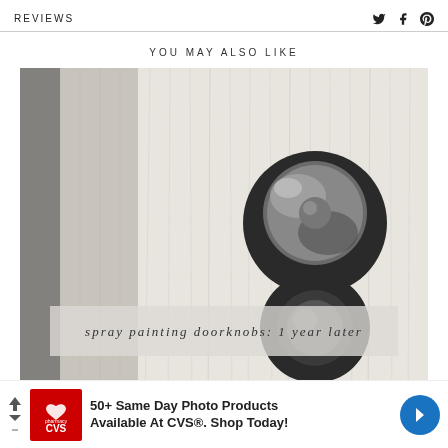REVIEWS
YOU MAY ALSO LIKE
[Figure (photo): Close-up photograph of a spray-painted dark bronze/black doorknob on a white textured door, with a semi-transparent overlay text reading 'spray painting doorknobs: 1 year later']
[Figure (other): CVS Pharmacy advertisement banner: '50+ Same Day Photo Products Available At CVS®. Shop Today!']